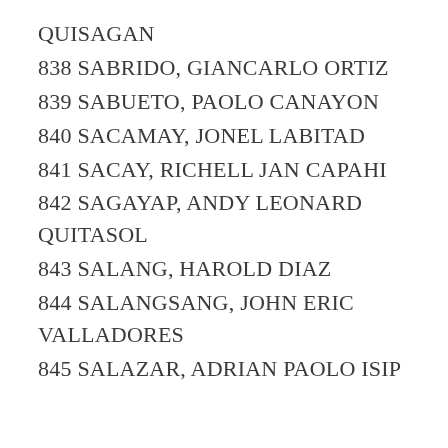QUISAGAN
838 SABRIDO, GIANCARLO ORTIZ
839 SABUETO, PAOLO CANAYON
840 SACAMAY, JONEL LABITAD
841 SACAY, RICHELL JAN CAPAHI
842 SAGAYAP, ANDY LEONARD QUITASOL
843 SALANG, HAROLD DIAZ
844 SALANGSANG, JOHN ERIC VALLADORES
845 SALAZAR, ADRIAN PAOLO ISIP